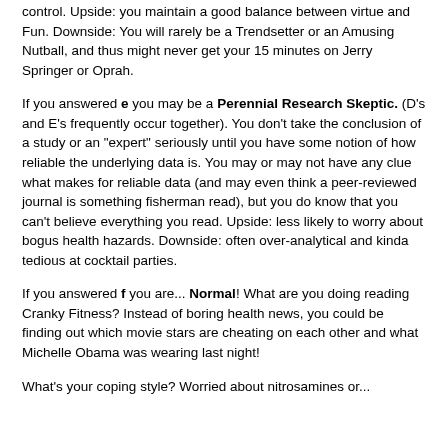control. Upside: you maintain a good balance between virtue and Fun. Downside: You will rarely be a Trendsetter or an Amusing Nutball, and thus might never get your 15 minutes on Jerry Springer or Oprah.
If you answered e you may be a Perennial Research Skeptic. (D's and E's frequently occur together). You don't take the conclusion of a study or an "expert" seriously until you have some notion of how reliable the underlying data is. You may or may not have any clue what makes for reliable data (and may even think a peer-reviewed journal is something fisherman read), but you do know that you can't believe everything you read. Upside: less likely to worry about bogus health hazards. Downside: often over-analytical and kinda tedious at cocktail parties.
If you answered f you are... Normal! What are you doing reading Cranky Fitness? Instead of boring health news, you could be finding out which movie stars are cheating on each other and what Michelle Obama was wearing last night!
What's your coping style? Worried about nitrosamines or...